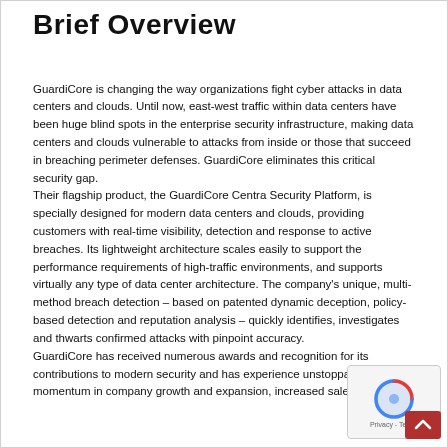Brief Overview
GuardiCore is changing the way organizations fight cyber attacks in data centers and clouds. Until now, east-west traffic within data centers have been huge blind spots in the enterprise security infrastructure, making data centers and clouds vulnerable to attacks from inside or those that succeed in breaching perimeter defenses. GuardiCore eliminates this critical security gap. Their flagship product, the GuardiCore Centra Security Platform, is specially designed for modern data centers and clouds, providing customers with real-time visibility, detection and response to active breaches. Its lightweight architecture scales easily to support the performance requirements of high-traffic environments, and supports virtually any type of data center architecture. The company's unique, multi-method breach detection – based on patented dynamic deception, policy-based detection and reputation analysis – quickly identifies, investigates and thwarts confirmed attacks with pinpoint accuracy. GuardiCore has received numerous awards and recognition for its contributions to modern security and has experience unstoppable momentum in company growth and expansion, increased sales...